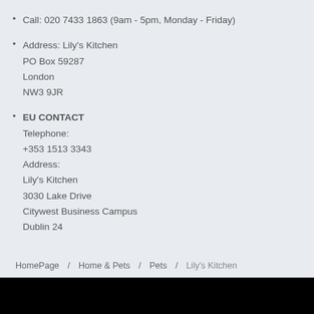Call: 020 7433 1863 (9am - 5pm, Monday - Friday)
Address: Lily's Kitchen
PO Box 59287
London
NW3 9JR
EU CONTACT
Telephone:
+353 1513 3343
Address:
Lily's Kitchen
3030 Lake Drive
Citywest Business Campus
Dublin 24
HomePage / Home & Pets / Pets / Lily's Kitchen